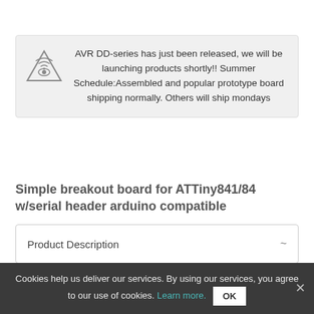AVR DD-series has just been released, we will be launching products shortly!! Summer Schedule:Assembled and popular prototype board shipping normally. Others will ship mondays
Simple breakout board for ATTiny841/84 w/serial header arduino compatible
Product Description ~
Cookies help us deliver our services. By using our services, you agree to our use of cookies. Learn more. OK